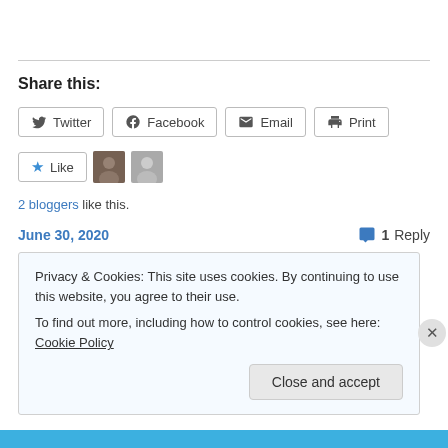Share this:
Twitter  Facebook  Email  Print
[Figure (other): Like button with star icon, and two blogger avatar thumbnails]
2 bloggers like this.
June 30, 2020   1 Reply
Privacy & Cookies: This site uses cookies. By continuing to use this website, you agree to their use. To find out more, including how to control cookies, see here: Cookie Policy
Close and accept